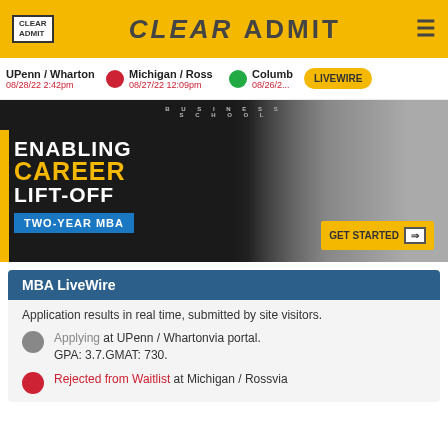CLEAR ADMIT
UPenn / Wharton 08/28/22 2:42pm | Michigan / Ross 08/27/22 12:09pm | Columb... 08/26/2... | LIVEWIRE
[Figure (photo): Advertisement banner for a business school: dark background, woman in business attire, text reads ENABLING CAREER LIFT-OFF TWO-YEAR MBA with GET STARTED button]
MBA LiveWire
Application results in real time, submitted by site visitors.
Applying at UPenn / Whartonvia portal. GPA: 3.7.GMAT: 730.
Rejected from Waitlist at Michigan / Rossvia